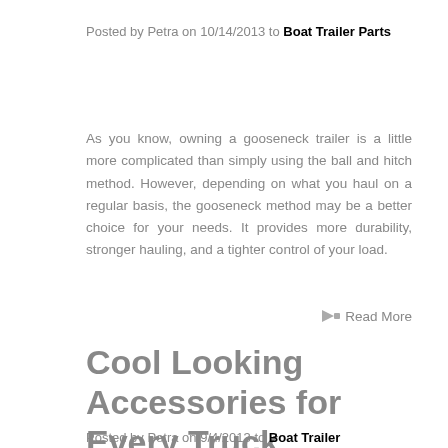Posted by Petra on 10/14/2013 to Boat Trailer Parts
As you know, owning a gooseneck trailer is a little more complicated than simply using the ball and hitch method. However, depending on what you haul on a regular basis, the gooseneck method may be a better choice for your needs. It provides more durability, stronger hauling, and a tighter control of your load.
Read More
Cool Looking Accessories for Every Truck
Posted by Petra on 9/4/2013 to Boat Trailer